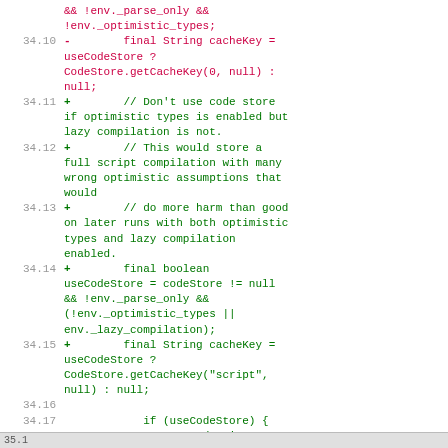&& !env._parse_only && !env._optimistic_types;
34.10 -        final String cacheKey = useCodeStore ? CodeStore.getCacheKey(0, null) : null;
34.11 +        // Don't use code store if optimistic types is enabled but lazy compilation is not.
34.12 +        // This would store a full script compilation with many wrong optimistic assumptions that would
34.13 +        // do more harm than good on later runs with both optimistic types and lazy compilation enabled.
34.14 +        final boolean useCodeStore = codeStore != null && !env._parse_only && (!env._optimistic_types || env._lazy_compilation);
34.15 +        final String cacheKey = useCodeStore ? CodeStore.getCacheKey("script", null) : null;
34.16
34.17         if (useCodeStore) {
34.18             storedScript = codeStore.load(source, cacheKey);
35.1